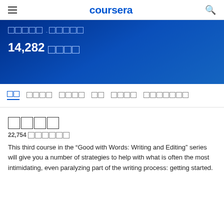coursera
□□□□□ - □□□□□
14,282 □□□□
□□ □□□□ □□□□ □□ □□□□ □□□□□□□
□□□□
22,754 □□□□□□
This third course in the “Good with Words: Writing and Editing” series will give you a number of strategies to help with what is often the most intimidating, even paralyzing part of the writing process: getting started.